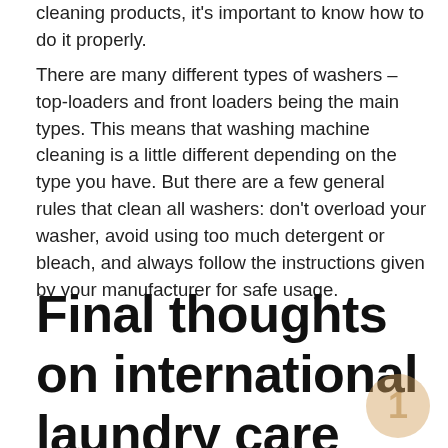cleaning products, it's important to know how to do it properly.
There are many different types of washers – top-loaders and front loaders being the main types. This means that washing machine cleaning is a little different depending on the type you have. But there are a few general rules that clean all washers: don't overload your washer, avoid using too much detergent or bleach, and always follow the instructions given by your manufacturer for safe usage.
Final thoughts on international laundry care symbols